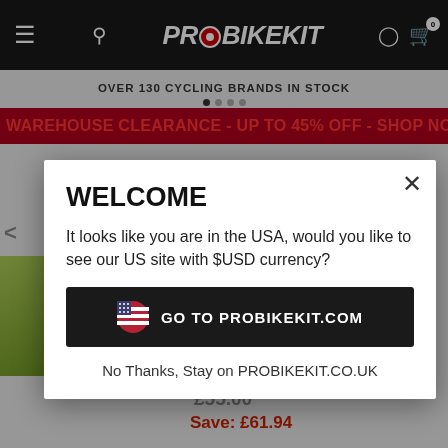PROBIKEKIT
OVER 130 CYCLING BRANDS IN STOCK
WAREHOUSE CLEARANCE - UP TO 45% OFF - SHOP NOW
WELCOME
It looks like you are in the USA, would you like to see our US site with $USD currency?
GO TO PROBIKEKIT.COM
No Thanks, Stay on PROBIKEKIT.CO.UK
£55.00
Save: £61.94